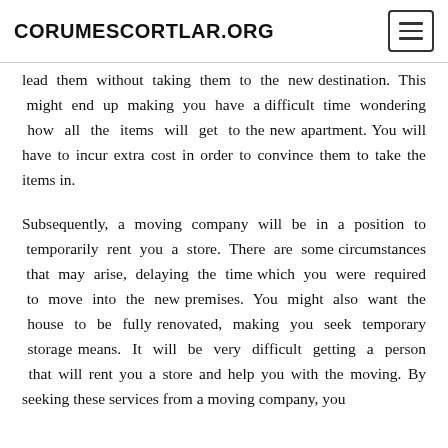CORUMESCORTLAR.ORG
lead them without taking them to the new destination. This might end up making you have a difficult time wondering how all the items will get to the new apartment. You will have to incur extra cost in order to convince them to take the items in.
Subsequently, a moving company will be in a position to temporarily rent you a store. There are some circumstances that may arise, delaying the time which you were required to move into the new premises. You might also want the house to be fully renovated, making you seek temporary storage means. It will be very difficult getting a person that will rent you a store and help you with the moving. By seeking these services from a moving company, you